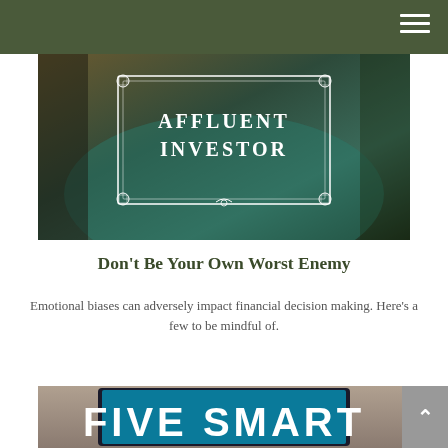[Figure (photo): Stylized photo of an outdoor wooden table with a decorative white border frame containing the text 'AFFLUENT INVESTOR', with an ornamental design. Background shows a pool or garden scene with warm tones.]
Don't Be Your Own Worst Enemy
Emotional biases can adversely impact financial decision making. Here's a few to be mindful of.
[Figure (photo): Photo of a tablet device showing text 'FIVE SMART' in large white letters, partially cropped, on a dark background.]